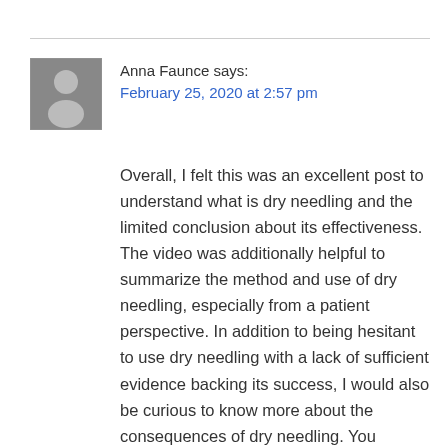Anna Faunce says:
February 25, 2020 at 2:57 pm
Overall, I felt this was an excellent post to understand what is dry needling and the limited conclusion about its effectiveness. The video was additionally helpful to summarize the method and use of dry needling, especially from a patient perspective. In addition to being hesitant to use dry needling with a lack of sufficient evidence backing its success, I would also be curious to know more about the consequences of dry needling. You mention there is no clear evidence that dry needling